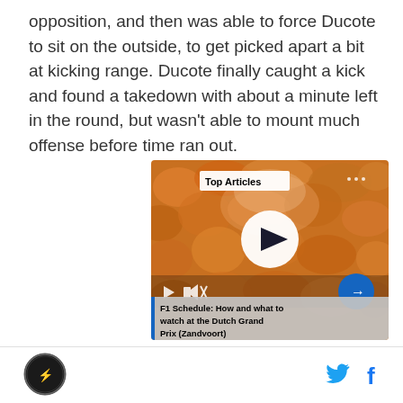opposition, and then was able to force Ducote to sit on the outside, to get picked apart a bit at kicking range. Ducote finally caught a kick and found a takedown with about a minute left in the round, but wasn't able to mount much offense before time ran out.
[Figure (screenshot): Video player thumbnail showing a crowd of people in orange, with a 'Top Articles' badge, a large play button in the center, small playback controls at the bottom left, a blue arrow button at the bottom right, and a caption bar reading 'F1 Schedule: How and what to watch at the Dutch Grand Prix (Zandvoort)']
Site logo icon, Twitter bird icon, Facebook f icon